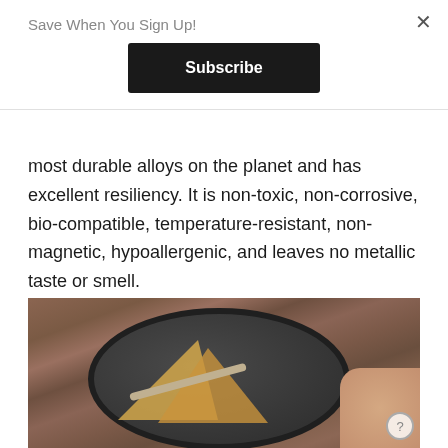Save When You Sign Up!
Subscribe
most durable alloys on the planet and has excellent resiliency. It is non-toxic, non-corrosive, bio-compatible, temperature-resistant, non-magnetic, hypoallergenic, and leaves no metallic taste or smell.
[Figure (photo): Photo of a dark round pan on a wooden table surface, containing triangular toast slices, with a hand holding a fork cutting into the toast. Person's wrist is visible wearing black lace fabric.]